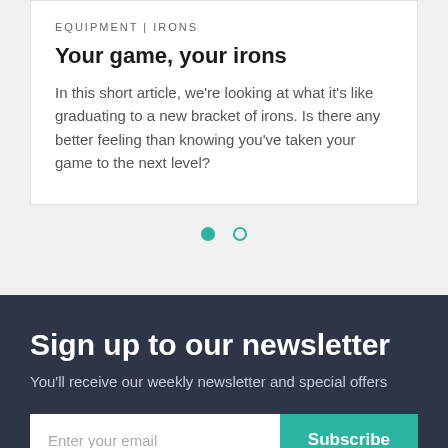EQUIPMENT | IRONS
Your game, your irons
In this short article, we're looking at what it's like graduating to a new bracket of irons. Is there any better feeling than knowing you've taken your game to the next level?
[Figure (other): Carousel pagination dots: one filled teal dot and one empty teal-outline dot]
Sign up to our newsletter
You'll receive our weekly newsletter and special offers
[Figure (other): Email subscription form with text input placeholder 'Enter your email' and a teal 'Subscribe' button]